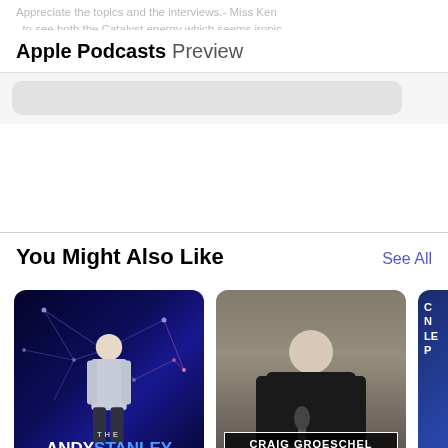Apple Podcasts Preview
Appreciate the topics and the interviews.- Miss Ken .. to see both the Catalyst energy which seems ironic when compared to the Catalyst event (and intro).
You Might Also Like
See All
[Figure (photo): Andy Stanley Leadership Podcast cover art — man in white shirt on dark blue background with network lines, text reads THE ANDY STANLEY LEADERSHIP PODCAST]
Andy Stanley Leadership Po...
Andy Stanley
[Figure (photo): Craig Groeschel Leadership Podcast cover art — man in black shirt at a desk with microphone, text reads CRAIG GROESCHEL LEADERSHIP PODCAST]
Craig Groeschel Leadership ...
Life.Church
[Figure (photo): Third podcast cover art — partially visible, blue background with partial text]
Th
Art